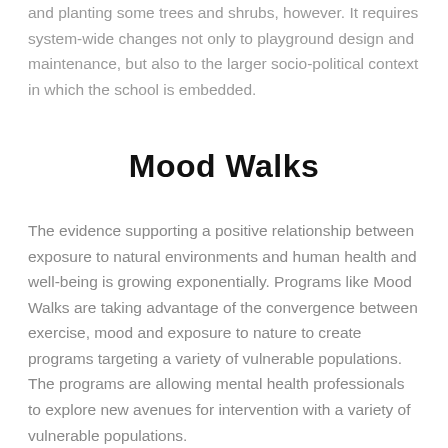and planting some trees and shrubs, however. It requires system-wide changes not only to playground design and maintenance, but also to the larger socio-political context in which the school is embedded.
Mood Walks
The evidence supporting a positive relationship between exposure to natural environments and human health and well-being is growing exponentially. Programs like Mood Walks are taking advantage of the convergence between exercise, mood and exposure to nature to create programs targeting a variety of vulnerable populations. The programs are allowing mental health professionals to explore new avenues for intervention with a variety of vulnerable populations.